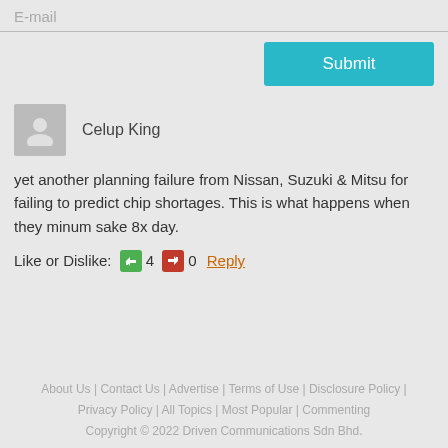E-mail
Submit
Celup King
yet another planning failure from Nissan, Suzuki & Mitsu for failing to predict chip shortages. This is what happens when they minum sake 8x day.
Like or Dislike: 4 0 Reply
About Us | Contact Us | Advertise | Terms of Use | Disclosure Policy | Privacy Policy | All Topics | Most Popular | Commenting
Copyright © 2022 Driven Communications Sdn Bhd.